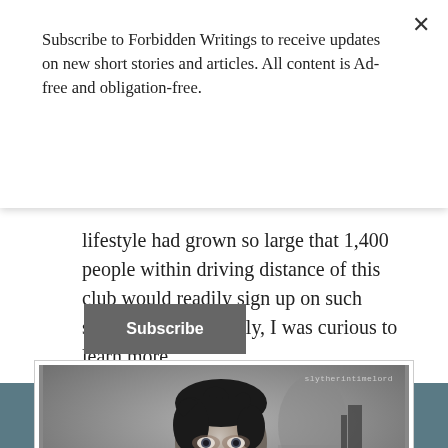Subscribe to Forbidden Writings to receive updates on new short stories and articles. All content is Ad-free and obligation-free.
Subscribe
lifestyle had grown so large that 1,400 people within driving distance of this club would readily sign up on such short notice. Naturally, I was curious to learn more.
[Figure (photo): Black and white photo of a young man with curly dark hair holding his hands together near his face, looking thoughtful. Watermark 'slytherintimelord' visible in top right corner.]